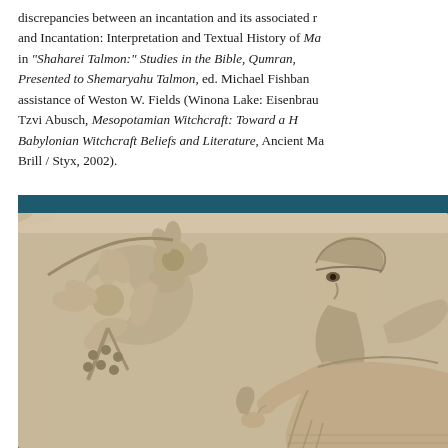discrepancies between an incantation and its associated r... and Incantation: Interpretation and Textual History of Ma... in "Shaharei Talmon:" Studies in the Bible, Qumran,... Presented to Shemaryahu Talmon, ed. Michael Fishban... assistance of Weston W. Fields (Winona Lake: Eisenbrau... Tzvi Abusch, Mesopotamian Witchcraft: Toward a H... Babylonian Witchcraft Beliefs and Literature, Ancient Ma... Brill / Styx, 2002).
[Figure (photo): Ancient stone relief carving depicting Assyrian or Mesopotamian figures — a bearded warrior/deity in profile on the right side, and decorative floral/plant motifs on the left, carved in limestone. The background behind the relief is dark teal/blue.]